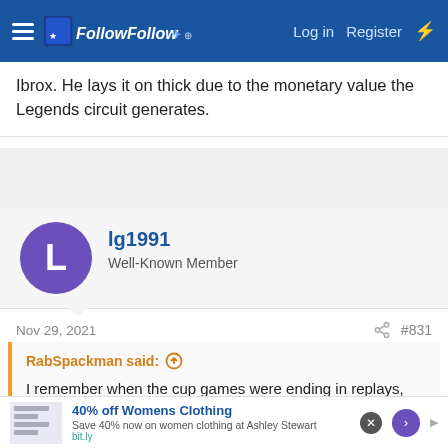FollowFollow | Log in | Register
Ibrox. He lays it on thick due to the monetary value the Legends circuit generates.
lg1991
Well-Known Member
Nov 29, 2021  #831
RabSpackman said: ↑

I remember when the cup games were ending in replays, extra-time & penalties, and having discussion with a few mates that it was just not going to work if McCoist was given the job.
[Figure (screenshot): Advertisement banner: 40% off Womens Clothing - Save 40% now on women clothing at Ashley Stewart - bit.ly]